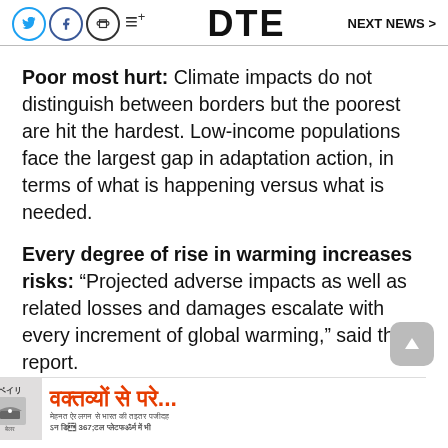DTE | NEXT NEWS >
Poor most hurt: Climate impacts do not distinguish between borders but the poorest are hit the hardest. Low-income populations face the largest gap in adaptation action, in terms of what is happening versus what is needed.
Every degree of rise in warming increases risks: “Projected adverse impacts as well as related losses and damages escalate with every increment of global warming,” said the report. Up t... gh
[Figure (other): Advertisement banner with Hindi text ‘वक्तव्यों से परे...’ and insurance company logo]